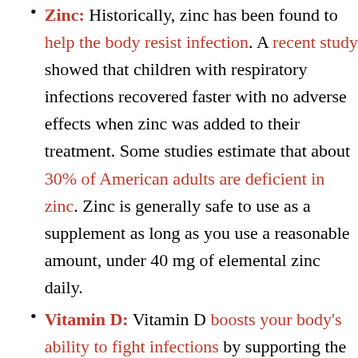Zinc: Historically, zinc has been found to help the body resist infection. A recent study showed that children with respiratory infections recovered faster with no adverse effects when zinc was added to their treatment. Some studies estimate that about 30% of American adults are deficient in zinc. Zinc is generally safe to use as a supplement as long as you use a reasonable amount, under 40 mg of elemental zinc daily.
Vitamin D: Vitamin D boosts your body's ability to fight infections by supporting the white blood cells that fight off pathogens. It may also minimize inflammation, raising your immune system's ability to function correctly. According to a recent